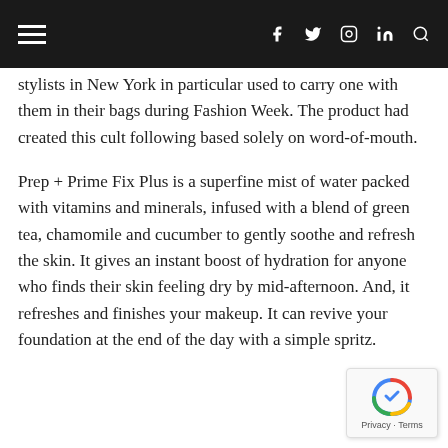≡  f  𝕏  ⊙  in  🔍
stylists in New York in particular used to carry one with them in their bags during Fashion Week. The product had created this cult following based solely on word-of-mouth.
Prep + Prime Fix Plus is a superfine mist of water packed with vitamins and minerals, infused with a blend of green tea, chamomile and cucumber to gently soothe and refresh the skin. It gives an instant boost of hydration for anyone who finds their skin feeling dry by mid-afternoon. And, it refreshes and finishes your makeup. It can revive your foundation at the end of the day with a simple spritz.